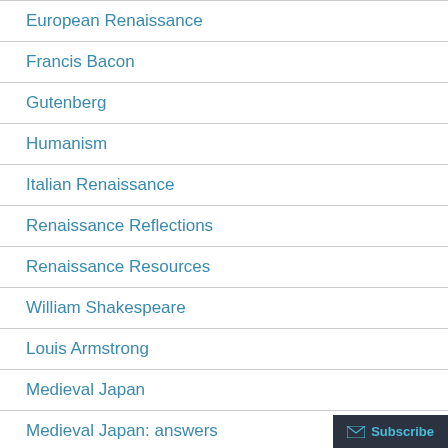European Renaissance
Francis Bacon
Gutenberg
Humanism
Italian Renaissance
Renaissance Reflections
Renaissance Resources
William Shakespeare
Louis Armstrong
Medieval Japan
Medieval Japan: answers